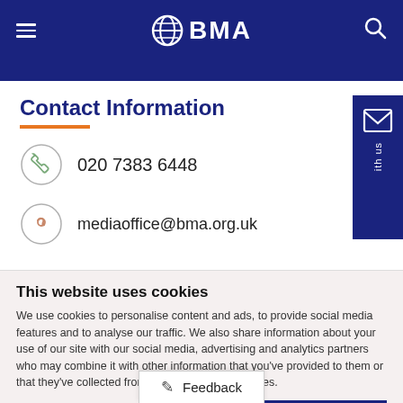BMA (British Medical Association) website header with navigation
Contact Information
020 7383 6448
mediaoffice@bma.org.uk
This website uses cookies
We use cookies to personalise content and ads, to provide social media features and to analyse our traffic. We also share information about your use of our site with our social media, advertising and analytics partners who may combine it with other information that you've provided to them or that they've collected from your use of their services.
Allow selection | Allow all cookies
Necessary | Preferences | Statistics | Marketing | Show details
Feedback